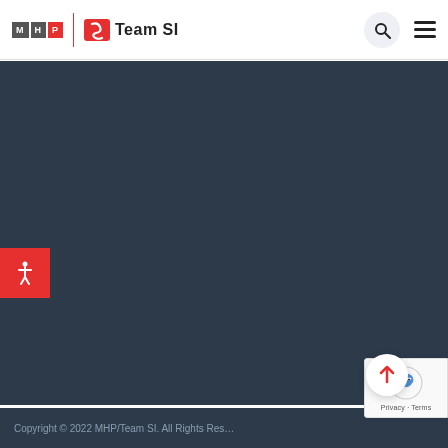[Figure (logo): MHP / Team SI combined logo with search and hamburger menu icons in website header]
[Figure (screenshot): Dark navy blue main content area of MHP/Team SI website, mostly empty]
[Figure (illustration): Red accessibility button with white accessibility icon (person figure) on left edge]
[Figure (illustration): White circular back-to-top button with red upward arrow]
[Figure (illustration): Google reCAPTCHA badge with Privacy and Terms text]
Copyright © 2022 MHP/Team SI. All Rights Res...